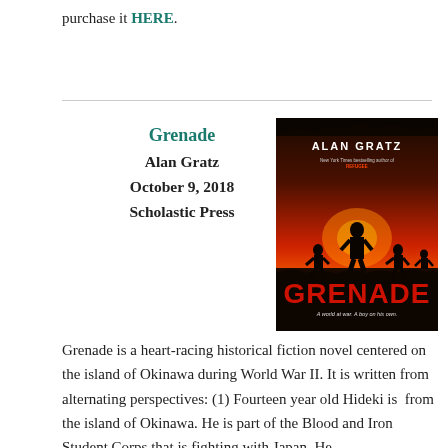purchase it HERE.
Grenade
Alan Gratz
October 9, 2018
Scholastic Press
[Figure (illustration): Book cover of 'Grenade' by Alan Gratz. Shows silhouette of a boy standing against a red sunset background with other figures running. Title 'GRENADE' in large red letters at bottom. Subtitle: 'A world at war. A boy on his own.' Author name 'ALAN GRATZ' at top with 'New York Times bestselling author of REFUGEE'.]
Grenade is a heart-racing historical fiction novel centered on the island of Okinawa during World War II. It is written from alternating perspectives: (1) Fourteen year old Hideki is  from the island of Okinawa. He is part of the Blood and Iron Student Corps that is fighting with Japan. He